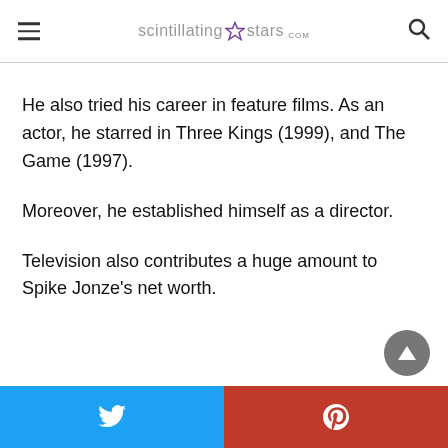scintillating★stars.com
He also tried his career in feature films. As an actor, he starred in Three Kings (1999), and The Game (1997).
Moreover, he established himself as a director.
Television also contributes a huge amount to Spike Jonze's net worth.
Twitter share | Pinterest share